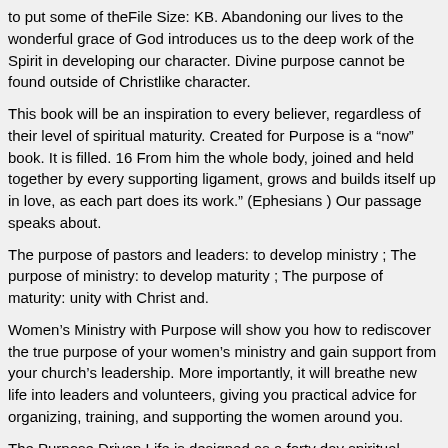to put some of theFile Size: KB. Abandoning our lives to the wonderful grace of God introduces us to the deep work of the Spirit in developing our character. Divine purpose cannot be found outside of Christlike character.
This book will be an inspiration to every believer, regardless of their level of spiritual maturity. Created for Purpose is a “now” book. It is filled. 16 From him the whole body, joined and held together by every supporting ligament, grows and builds itself up in love, as each part does its work.” (Ephesians ) Our passage speaks about.
The purpose of pastors and leaders: to develop ministry ; The purpose of ministry: to develop maturity ; The purpose of maturity: unity with Christ and.
Women’s Ministry with Purpose will show you how to rediscover the true purpose of your women’s ministry and gain support from your church’s leadership. More importantly, it will breathe new life into leaders and volunteers, giving you practical advice for organizing, training, and supporting the women around you.
The Purpose Driven Life is designed as a forty day spiritual journey – one chapter a day – with the goal of answering the question “What on earth am I here for?” (p15). The question is